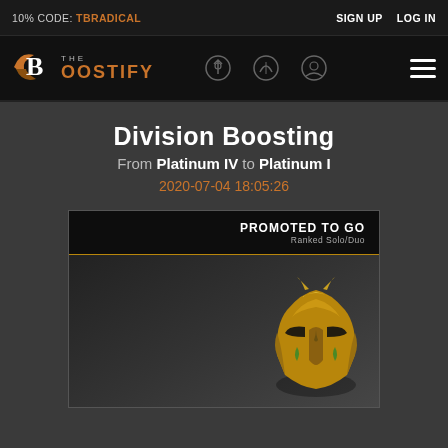10% CODE: TBRADICAL | SIGN UP | LOG IN
[Figure (logo): The Boostify logo with stylized B and navigation icons]
Division Boosting
From Platinum IV to Platinum I
2020-07-04 18:05:26
[Figure (screenshot): Game screenshot showing PROMOTED TO GOLD notification with Ranked Solo/Duo label and gold helmet icon]